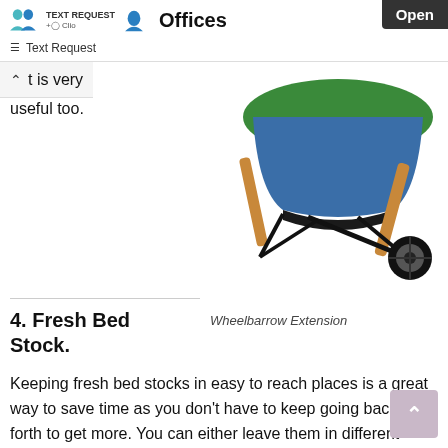TEXT REQUEST +Clio  Offices  Open  Text Request
t is very useful too.
[Figure (photo): A wheelbarrow with a green top and blue/black tray on a wooden frame with a black wheel, viewed from the side/front.]
4. Fresh Bed Stock.
Wheelbarrow Extension
Keeping fresh bed stocks in easy to reach places is a great way to save time as you don't have to keep going back and forth to get more. You can either leave them in different locations around the stables or else stockpile them e stalls.